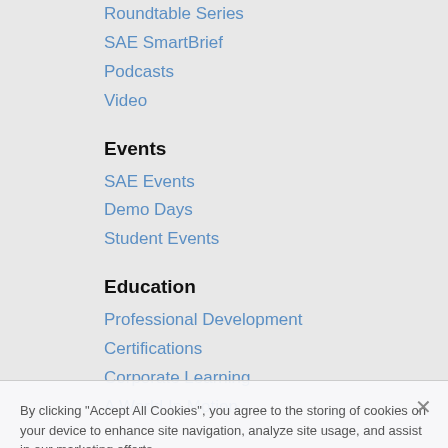Roundtable Series
SAE SmartBrief
Podcasts
Video
Events
SAE Events
Demo Days
Student Events
Education
Professional Development
Certifications
Corporate Learning
A World In Motion
Participate with SAE
Membership
Sections
SAE Connexion+
Volunteer
Author
Scholarships
Awards
Careers
By clicking "Accept All Cookies", you agree to the storing of cookies on your device to enhance site navigation, analyze site usage, and assist in our marketing efforts.